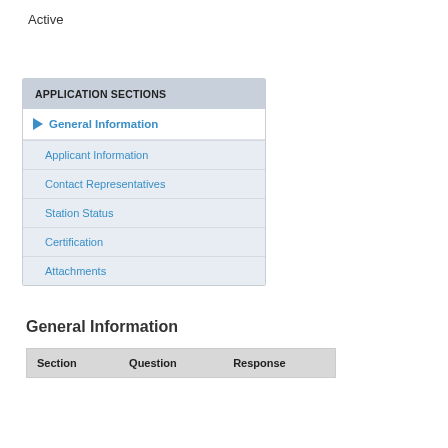Active
APPLICATION SECTIONS
General Information
Applicant Information
Contact Representatives
Station Status
Certification
Attachments
General Information
| Section | Question | Response |
| --- | --- | --- |